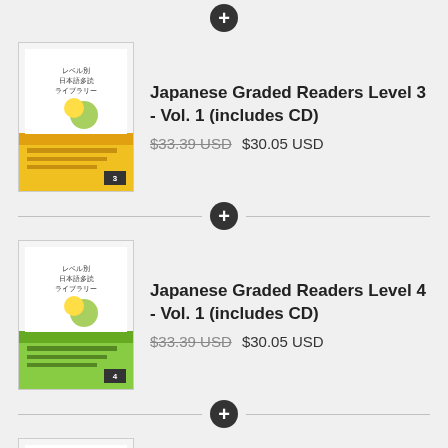[Figure (illustration): Book cover for Japanese Graded Readers Level 3 Vol. 1 with orange/yellow bottom band]
Japanese Graded Readers Level 3 - Vol. 1 (includes CD)
$33.39 USD $30.05 USD
[Figure (illustration): Book cover for Japanese Graded Readers Level 4 Vol. 1 with green bottom band]
Japanese Graded Readers Level 4 - Vol. 1 (includes CD)
$33.39 USD $30.05 USD
[Figure (illustration): Book cover for Japanese Graded Readers Level 1 Vol. 2 with pink bottom band]
Japanese Graded Readers Level 1 - Vol. 2 (includes CD)
$33.39 USD $30.05 USD